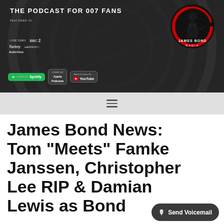[Figure (screenshot): James Bond Radio podcast banner with dark gunbarrel background. Shows 'THE PODCAST FOR 007 FANS', 'FEATURED IN: The Times, BBC 2, Variety, talkRADIO, RadioTimes'. Platform badges for Spotify, Apple Podcasts, YouTube. James Bond Radio circular logo with silhouette figure in tuxedo on red/black background.]
[Figure (screenshot): Light grey navigation bar with hamburger menu icon (three horizontal lines)]
James Bond News: Tom “Meets” Famke Janssen, Christopher Lee RIP & Damian Lewis as Bond